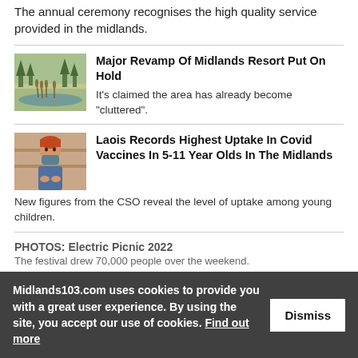The annual ceremony recognises the high quality service provided in the midlands.
[Figure (photo): Aerial/landscape photo of a midlands resort area with water and reeds]
Major Revamp Of Midlands Resort Put On Hold
It's claimed the area has already become "cluttered".
[Figure (photo): Photo of a child wearing a face mask]
Laois Records Highest Uptake In Covid Vaccines In 5-11 Year Olds In The Midlands
New figures from the CSO reveal the level of uptake among young children.
PHOTOS: Electric Picnic 2022
The festival drew 70,000 people over the weekend.
Midlands103.com uses cookies to provide you with a great user experience. By using the site, you accept our use of cookies. Find out more